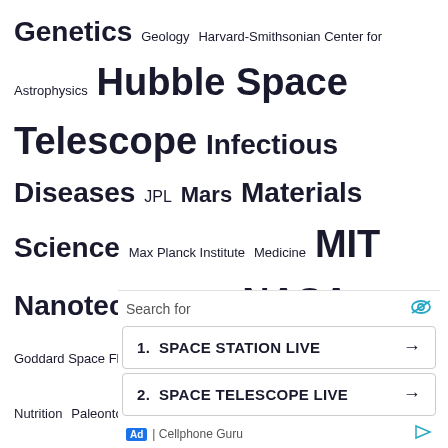Genetics Geology Harvard-Smithsonian Center for Astrophysics Hubble Space Telescope Infectious Diseases JPL Mars Materials Science Max Planck Institute Medicine MIT Nanotechnology NASA NASA Goddard Space Flight Center Neuroscience Nutrition Paleontology Particle Physics Planetary Science Planets Popular Public Health Quantum Physics Vaccine Virology Yale University
Search for
1. SPACE STATION LIVE
2. SPACE TELESCOPE LIVE
Ad | Cellphone Guru